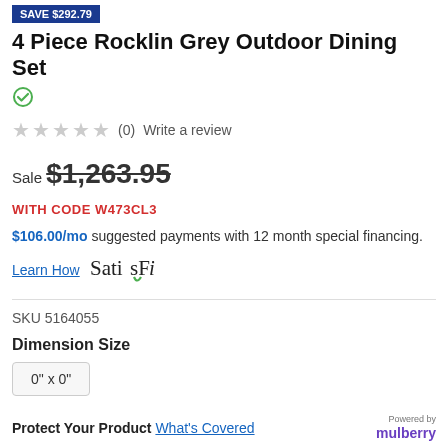SAVE $292.79
4 Piece Rocklin Grey Outdoor Dining Set
(0)  Write a review
Sale $1,263.95
WITH CODE W473CL3
$106.00/mo suggested payments with 12 month special financing.
Learn How   SatisFi
SKU 5164055
Dimension Size
0" x 0"
Protect Your Product  What's Covered
Powered by mulberry